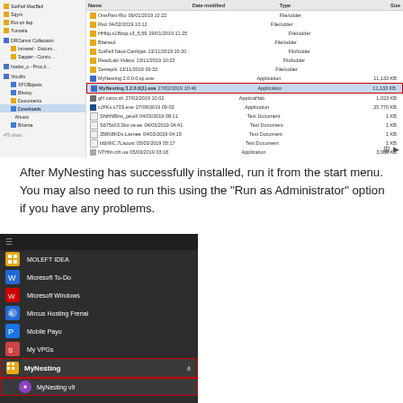[Figure (screenshot): Windows File Explorer showing Downloads folder with MyNesting 3.2.0.0 installer file highlighted with a red rectangle]
After MyNesting has successfully installed, run it from the start menu. You may also need to run this using the “Run as Administrator” option if you have any problems.
[Figure (screenshot): Windows Start Menu showing MyNesting folder expanded with MyNesting v9 option highlighted with a red rectangle]